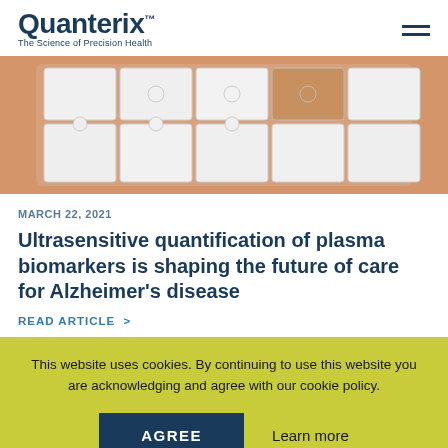Quanterix™ — The Science of Precision Health
[Figure (photo): Puzzle pieces arranged in a brain-like shape on a wooden surface, with one piece missing]
MARCH 22, 2021
Ultrasensitive quantification of plasma biomarkers is shaping the future of care for Alzheimer's disease
READ ARTICLE >
This website uses cookies. By continuing to use this website you are acknowledging and agree with our cookie policy.
AGREE   Learn more